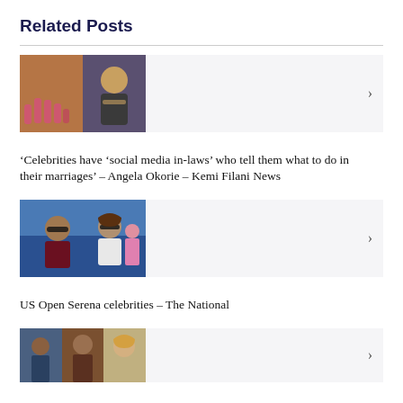Related Posts
[Figure (photo): Two photos side by side: hand with painted nails, and a woman with blonde hair wearing a dark top and gold necklace]
‘Celebrities have ‘social media in-laws’ who tell them what to do in their marriages’ – Angela Okorie – Kemi Filani News
[Figure (photo): Two people wearing sunglasses at what appears to be a sports event, with blue stadium seats in background]
US Open Serena celebrities – The National
[Figure (photo): Three people, partially visible at bottom of page]